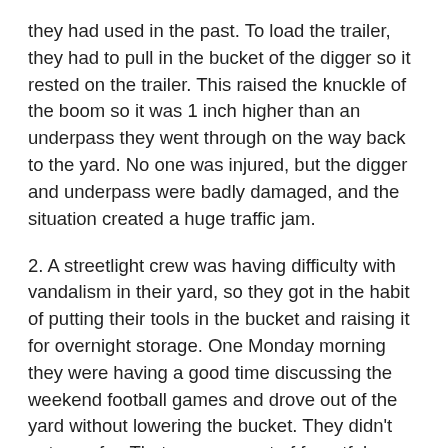they had used in the past. To load the trailer, they had to pull in the bucket of the digger so it rested on the trailer. This raised the knuckle of the boom so it was 1 inch higher than an underpass they went through on the way back to the yard. No one was injured, but the digger and underpass were badly damaged, and the situation created a huge traffic jam.
2. A streetlight crew was having difficulty with vandalism in their yard, so they got in the habit of putting their tools in the bucket and raising it for overnight storage. One Monday morning they were having a good time discussing the weekend football games and drove out of the yard without lowering the bucket. They didn't get very far. That one moment of forgetfulness made their job unprofitable for over a year.
3. A crew got a bucket truck stuck in some deep sand. They